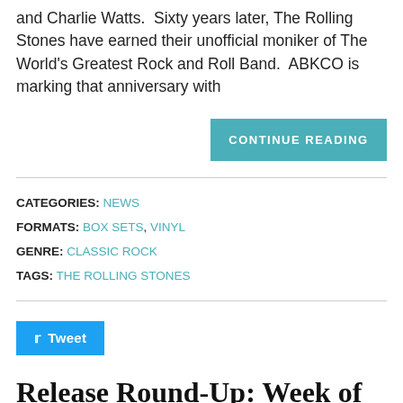and Charlie Watts.  Sixty years later, The Rolling Stones have earned their unofficial moniker of The World's Greatest Rock and Roll Band.  ABKCO is marking that anniversary with
CONTINUE READING
CATEGORIES: NEWS
FORMATS: BOX SETS, VINYL
GENRE: CLASSIC ROCK
TAGS: THE ROLLING STONES
Tweet
Release Round-Up: Week of May